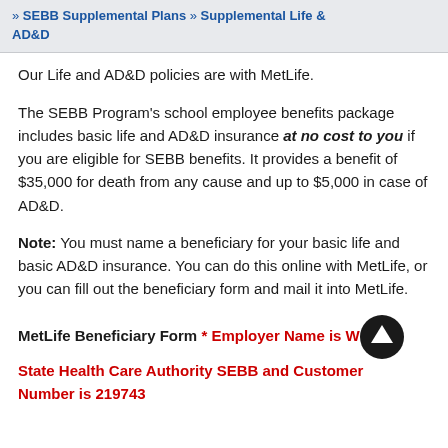» SEBB Supplemental Plans » Supplemental Life & AD&D
Our Life and AD&D policies are with MetLife.
The SEBB Program's school employee benefits package includes basic life and AD&D insurance at no cost to you if you are eligible for SEBB benefits. It provides a benefit of $35,000 for death from any cause and up to $5,000 in case of AD&D.
Note: You must name a beneficiary for your basic life and basic AD&D insurance. You can do this online with MetLife, or you can fill out the beneficiary form and mail it into MetLife.
MetLife Beneficiary Form * Employer Name is WA State Health Care Authority SEBB and Customer Number is 219743